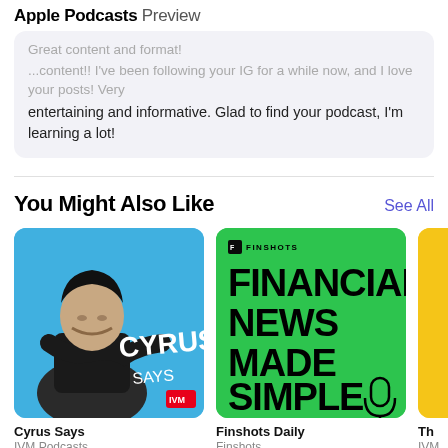Apple Podcasts Preview
Great content and format!
...content!! I've been following your IG for a while now, and I love your posts! Very entertaining and informative. Glad to find your podcast, I'm learning a lot!
You Might Also Like
[Figure (photo): Podcast cover art for 'Cyrus Says' — man with arms crossed on blue background with 'CYRUS SAYS' text, IVM Podcasts logo]
Cyrus Says
IVM Podcasts
[Figure (photo): Podcast cover art for 'Finshots Daily' — green background with bold text 'FINANCIAL NEWS MADE SIMPLE' and microphone icon, Finshots logo]
Finshots Daily
Finshots
[Figure (photo): Partial yellow podcast cover art (cropped, third item in row)]
Th...
IVM...